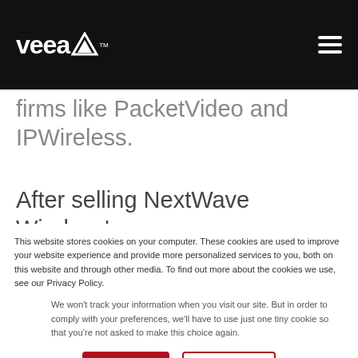veea™ [navigation header with hamburger menu]
firms like PacketVideo and IPWireless.
After selling NextWave Wireless' spectrum to AT&T in 2012, Salmasi
This website stores cookies on your computer. These cookies are used to improve your website experience and provide more personalized services to you, both on this website and through other media. To find out more about the cookies we use, see our Privacy Policy.
We won't track your information when you visit our site. But in order to comply with your preferences, we'll have to use just one tiny cookie so that you're not asked to make this choice again.